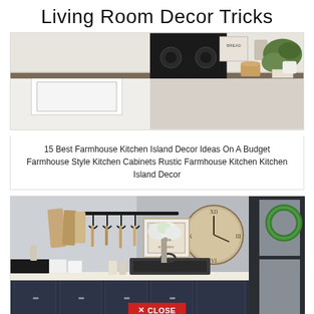Living Room Decor Tricks
[Figure (photo): Farmhouse kitchen countertop with white sink, black stove, bread canister, mason jars, candle, and green plant in white pot]
15 Best Farmhouse Kitchen Island Decor Ideas On A Budget Farmhouse Style Kitchen Cabinets Rustic Farmhouse Kitchen Kitchen Island Decor
[Figure (photo): Farmhouse kitchen island with white butcher block counter, dark navy cabinets, black metal tray, white flower arrangement, wall-mounted pot rack with utensils, large vintage clock, green wreath on window]
✕ CLOSE